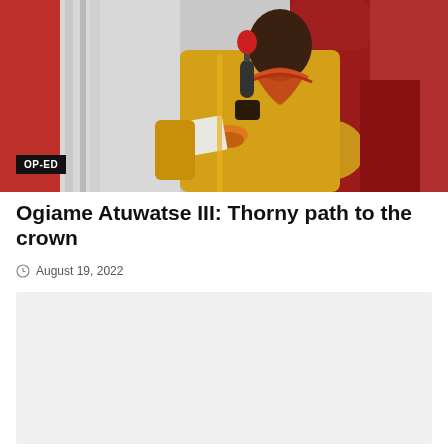[Figure (photo): A man in traditional yellow regalia and beaded necklaces holds a microphone and appears to be speaking. He is seated on an ornate red and gold throne. The background shows red curtains. An OP-ED badge overlays the bottom-left corner of the image.]
Ogiame Atuwatse III: Thorny path to the crown
August 19, 2022
[Figure (other): Advertisement or placeholder block (light gray rectangle)]